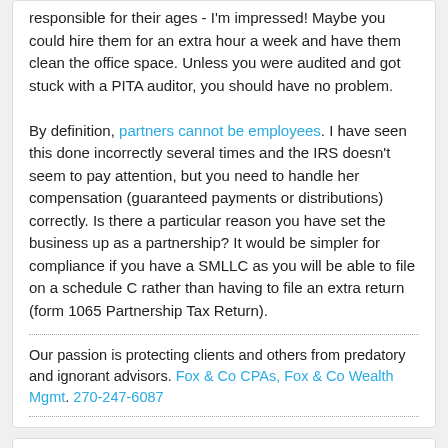responsible for their ages - I'm impressed! Maybe you could hire them for an extra hour a week and have them clean the office space. Unless you were audited and got stuck with a PITA auditor, you should have no problem.

By definition, partners cannot be employees. I have seen this done incorrectly several times and the IRS doesn't seem to pay attention, but you need to handle her compensation (guaranteed payments or distributions) correctly. Is there a particular reason you have set the business up as a partnership? It would be simpler for compliance if you have a SMLLC as you will be able to file on a schedule C rather than having to file an extra return (form 1065 Partnership Tax Return).
Our passion is protecting clients and others from predatory and ignorant advisors. Fox & Co CPAs, Fox & Co Wealth Mgmt. 270-247-6087
Channels